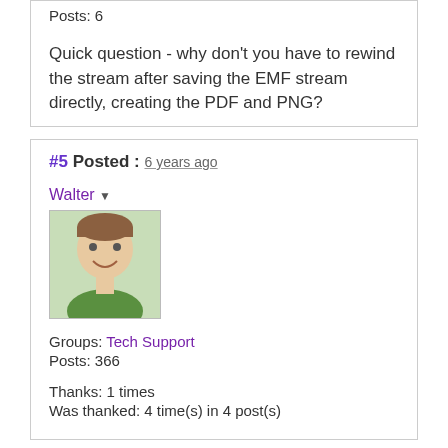Posts: 6
Quick question - why don't you have to rewind the stream after saving the EMF stream directly, creating the PDF and PNG?
#5 Posted : 6 years ago
Walter
[Figure (photo): Avatar photo of Walter, a man in a green shirt smiling]
Groups: Tech Support
Posts: 366
Thanks: 1 times
Was thanked: 4 time(s) in 4 post(s)